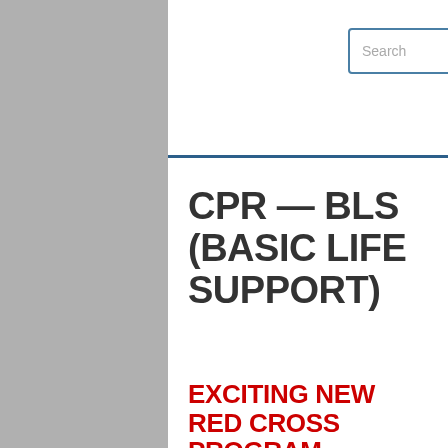Search [SEARCH button]
CPR — BLS (BASIC LIFE SUPPORT)
EXCITING NEW RED CROSS PROGRAM